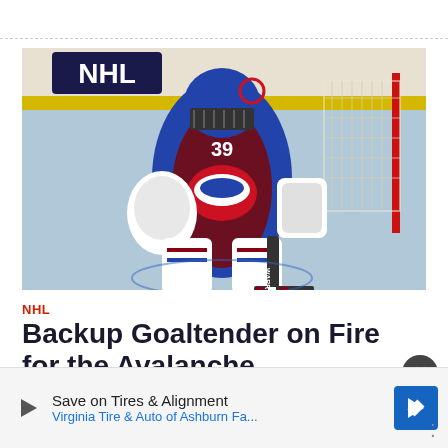[Figure (photo): Colorado Avalanche backup goaltender in blue and maroon uniform, number 39, in a crouching ready stance in front of the net on the ice. NHL logo visible on the boards in the background.]
NHL
Backup Goaltender on Fire for the Avalanche
Save on Tires & Alignment
Virginia Tire & Auto of Ashburn Fa...